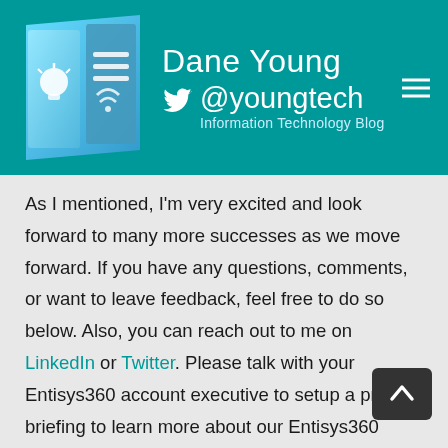Dane Young @youngtech Information Technology Blog
As I mentioned, I'm very excited and look forward to many more successes as we move forward. If you have any questions, comments, or want to leave feedback, feel free to do so below. Also, you can reach out to me on LinkedIn or Twitter. Please talk with your Entisys360 account executive to setup a private briefing to learn more about our Entisys360 Workspace Cloud offering, or any of our other solutions! If you are not currently an Entisys360 customer, you can e-mail cloud@entisys360.com to learn more.